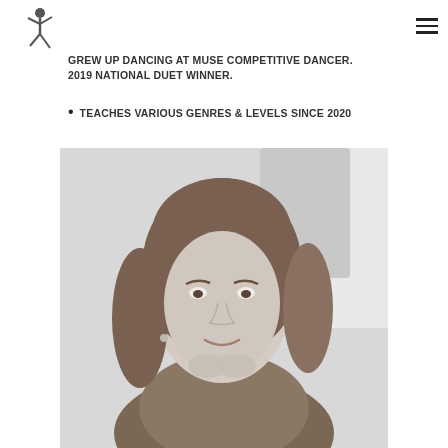[Figure (logo): Dance studio logo — silhouette of a dancing figure in gray]
GREW UP DANCING AT MUSE COMPETITIVE DANCER. 2019 NATIONAL DUET WINNER.
TEACHES VARIOUS GENRES & LEVELS SINCE 2020
[Figure (photo): Black and white portrait photo of a young woman with long hair, smiling, resting chin on hands, wearing a floral top]